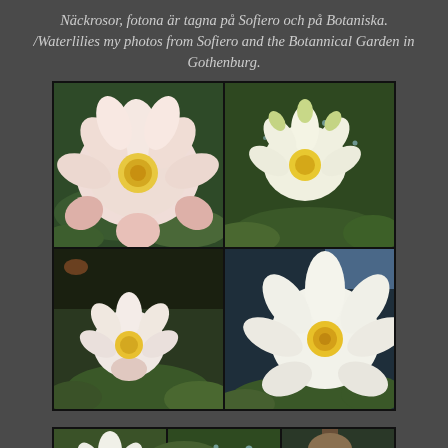Näckrosor, fotona är tagna på Sofiero och på Botaniska. /Waterlilies my photos from Sofiero and the Botannical Garden in Gothenburg.
[Figure (photo): 2x2 grid of waterlily photos showing pink and white water lilies with green lily pads on water]
[Figure (photo): Bottom strip of three waterlily photos showing white blooms and green lily pads]